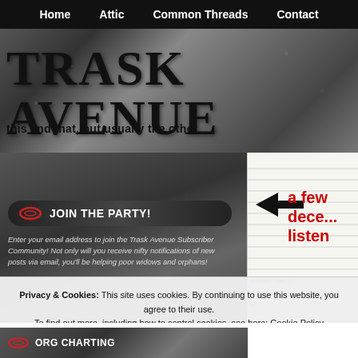Home  Attic  Common Threads  Contact
TRASK AVENUE
this and that, but usually the other
JOIN THE PARTY! Enter your email address to join the Trask Avenue Subscriber Community! Not only will you receive nifty notifications of new posts via email, you'll be helping poor widows and orphans!
a few decent listen
Posted: May 1
Privacy & Cookies: This site uses cookies. By continuing to use this website, you agree to their use. To find out more, including how to control cookies, see here: Cookie Policy
Close and accept
ORG CHARTING